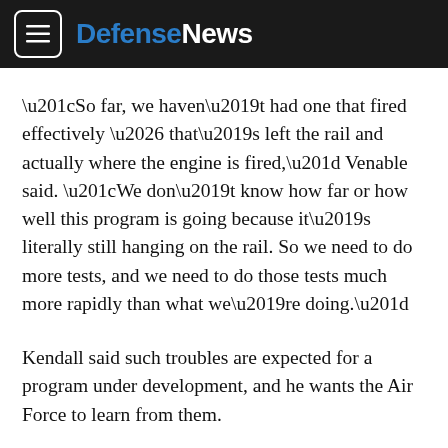DefenseNews
“So far, we haven’t had one that fired effectively … that’s left the rail and actually where the engine is fired,” Venable said. “We don’t know how far or how well this program is going because it’s literally still hanging on the rail. So we need to do more tests, and we need to do those tests much more rapidly than what we’re doing.”
Kendall said such troubles are expected for a program under development, and he wants the Air Force to learn from them.
Asked if it’s still possible to begin producing the ARRW